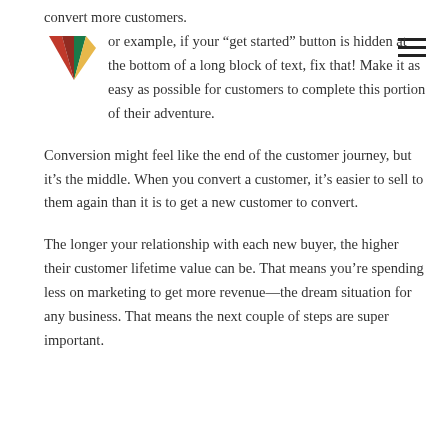[Figure (logo): Colorful stylized V/W logo with red, yellow, green, and blue segments]
convert more customers. For example, if your “get started” button is hidden at the bottom of a long block of text, fix that! Make it as easy as possible for customers to complete this portion of their adventure.
Conversion might feel like the end of the customer journey, but it’s the middle. When you convert a customer, it’s easier to sell to them again than it is to get a new customer to convert.
The longer your relationship with each new buyer, the higher their customer lifetime value can be. That means you’re spending less on marketing to get more revenue—the dream situation for any business. That means the next couple of steps are super important.